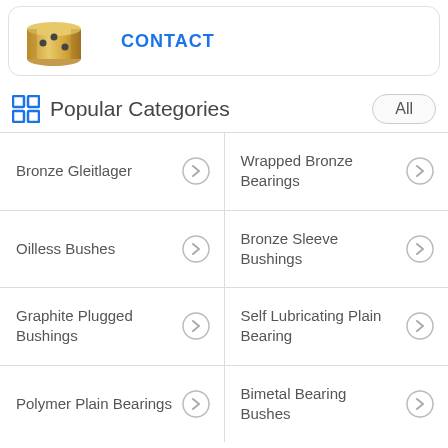[Figure (illustration): Bronze bushing/bearing component with gold color and black dot lubricant holes, shown in 3D perspective]
CONTACT
Popular Categories
All
Bronze Gleitlager
Wrapped Bronze Bearings
Oilless Bushes
Bronze Sleeve Bushings
Graphite Plugged Bushings
Self Lubricating Plain Bearing
Polymer Plain Bearings
Bimetal Bearing Bushes